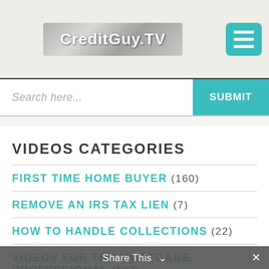CreditGuy.TV
Search here...
VIDEOS CATEGORIES
FIRST TIME HOME BUYER (160)
REMOVE AN IRS TAX LIEN (7)
HOW TO HANDLE COLLECTIONS (22)
VIDEOS FOR THE MORTGAGE PROFESSIONAL (127)
GREAT INTERVIEWS (35)
CREDIT REPAIR WARNING (22)
Share This ∨  ×